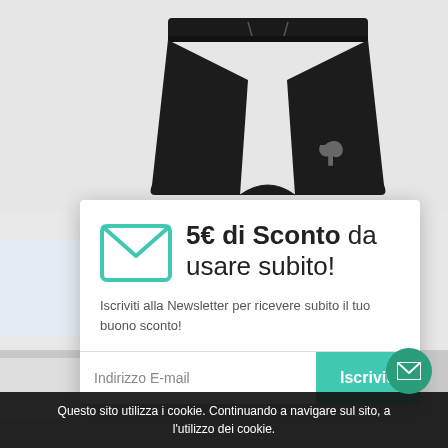[Figure (photo): Black Puma athletic shorts on white background, partial view showing from waist to knees]
5€ di Sconto da usare subito!
Iscriviti alla Newsletter per ricevere subito il tuo buono sconto!
Indirizzo E-mail
Iscriviti
Questo sito utilizza i cookie. Continuando a navigare sul sito, a l'utilizzo dei cookie.